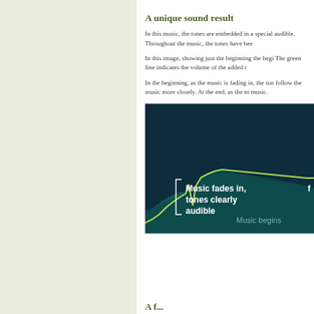A unique sound result
In this music, the tones are embedded in a special audible. Throughout the music, the tones have bee
In this image, showing just the beginning the begi The green line indicates the volume of the added t
In the beginning, as the music is fading in, the ton follow the music more closely. At the end, as the m music.
[Figure (infographic): Dark navy blue chart showing audio waveform (teal/dark teal fill) with a green line overlay indicating tone volume. Text annotations in white: 'Music fades in, tones clearly audible' with bracket on left side, 'Music begins' label at bottom right, and partial text 'f' at far right. The green line rises then levels off, waveform shows music amplitude over time.]
A f...